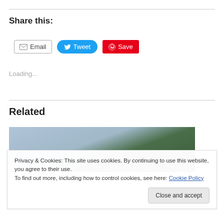Share this:
[Figure (screenshot): Row of share buttons: Email (white/grey border), Tweet (blue rounded), Save (red/Pinterest)]
Loading...
Related
[Figure (photo): Partial photo of palm tree and outdoor scene, partially obscured by cookie banner]
Privacy & Cookies: This site uses cookies. By continuing to use this website, you agree to their use.
To find out more, including how to control cookies, see here: Cookie Policy
Close and accept